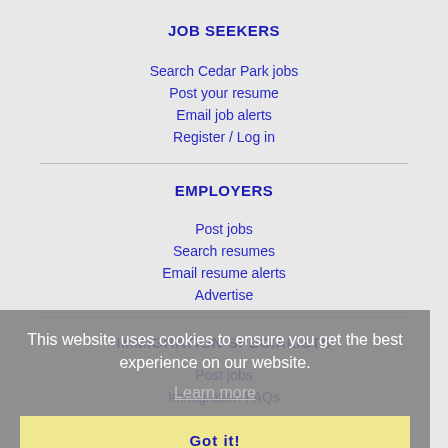JOB SEEKERS
Search Cedar Park jobs
Post your resume
Email job alerts
Register / Log in
EMPLOYERS
Post jobs
Search resumes
Email resume alerts
Advertise
This website uses cookies to ensure you get the best experience on our website.
Learn more
Got it!
IMMIGRATION SPECIALISTS
Post jobs
Immigration FAQs